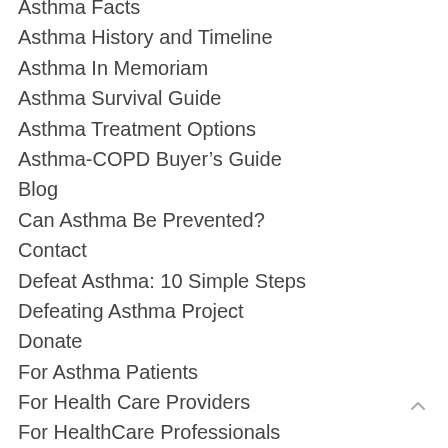Asthma Facts
Asthma History and Timeline
Asthma In Memoriam
Asthma Survival Guide
Asthma Treatment Options
Asthma-COPD Buyer's Guide
Blog
Can Asthma Be Prevented?
Contact
Defeat Asthma: 10 Simple Steps
Defeating Asthma Project
Donate
For Asthma Patients
For Health Care Providers
For HealthCare Professionals
Global Translation
How Is Asthma Diagnosed?
Indoor Environmental Asthma Triggers
Inhalers & Spacers
Key Initiatives
Living With Asthma
Mission and Vision
Privacy Policy